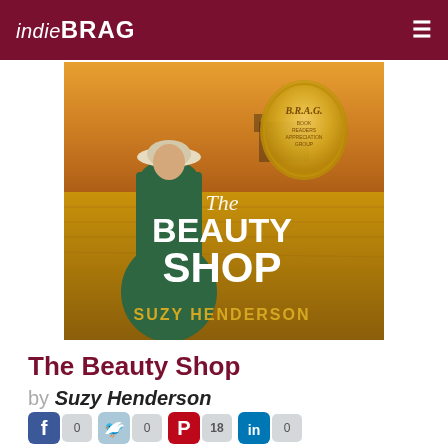indieBRAG
[Figure (illustration): Book cover of 'The Beauty Shop' by Suzy Henderson. Shows a woman in a green dress and hat standing in a golden field with a castle in the background. Large gold BRAG medallion in top right. Title 'The Beauty Shop' in large white serif text, author name 'Suzy Henderson' in gold text at the bottom.]
The Beauty Shop
by Suzy Henderson
0  0  18  0